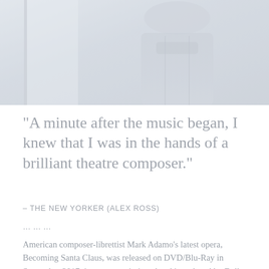[Figure (photo): Faded/washed-out photograph of a person in a suit, upper body visible, standing indoors. Image is heavily desaturated in gray-blue tones.]
"A minute after the music began, I knew that I was in the hands of a brilliant theatre composer."
– THE NEW YORKER (ALEX ROSS)
………
American composer-librettist Mark Adamo's latest opera, Becoming Santa Claus, was released on DVD/Blu-Ray in September 2017; it was commissioned and introduced by Dallas Opera in December